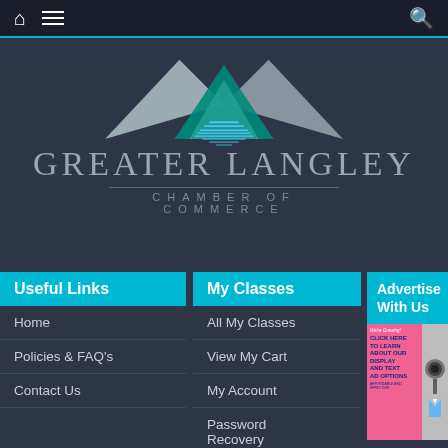Navigation bar with home, menu, and search icons
[Figure (logo): Greater Langley Chamber of Commerce logo with geometric mountain/diamond shapes in teal, silver, and blue with horizontal line pattern]
GREATER LANGLEY
CHAMBER OF COMMERCE
Useful Links
My Classes
Advertise With Us
Home
Policies & FAQ's
Contact Us
All My Classes
View My Cart
My Account
Password Recovery
[Figure (illustration): Advertisement banner: pink background with text 'We're Growing! CLICK HERE TO LEARN ABOUT OUR DISPLAY AND TEXT AD OPTIONS' with megaphone and businessman image]